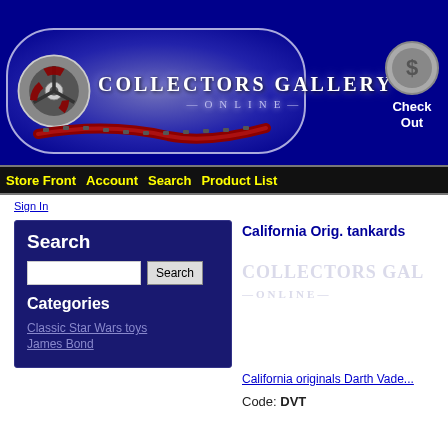[Figure (logo): Collectors Gallery Online logo with film reel graphic on dark blue banner background]
[Figure (illustration): Checkout button with dollar sign icon]
Store Front  Account  Search  Product List
Sign In
Search
Categories
Classic Star Wars toys
James Bond
California Orig. tankards
[Figure (logo): Collectors Gallery Online watermark]
California originals Darth Vade...
Code: DVT